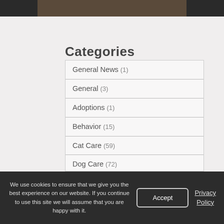[Figure (photo): Partial photo of an animal (likely a cat or dog), cropped at top of page]
Categories
General News (1)
General (3)
Adoptions (1)
Behavior (15)
Cat Care (59)
Dog Care (72)
Exotic Care (5)
Frequently Asked Questions (1)
We use cookies to ensure that we give you the best experience on our website. If you continue to use this site we will assume that you are happy with it.